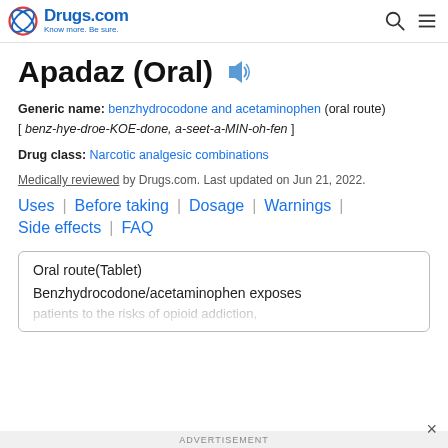Drugs.com — Know more. Be sure.
Apadaz (Oral)
Generic name: benzhydrocodone and acetaminophen (oral route) [ benz-hye-droe-KOE-done, a-seet-a-MIN-oh-fen ]
Drug class: Narcotic analgesic combinations
Medically reviewed by Drugs.com. Last updated on Jun 21, 2022.
Uses
Before taking
Dosage
Warnings
Side effects
FAQ
Oral route(Tablet)
Benzhydrocodone/acetaminophen exposes patients to the risks of opioid addiction,